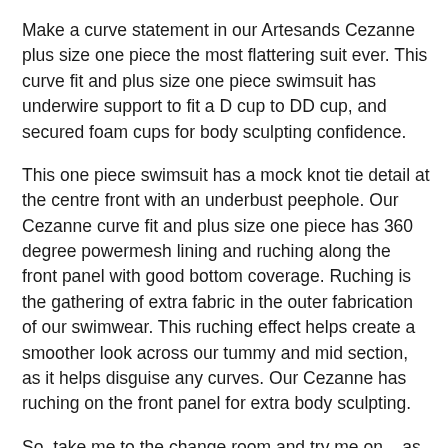Make a curve statement in our Artesands Cezanne plus size one piece the most flattering suit ever. This curve fit and plus size one piece swimsuit has underwire support to fit a D cup to DD cup, and secured foam cups for body sculpting confidence.
This one piece swimsuit has a mock knot tie detail at the centre front with an underbust peephole. Our Cezanne curve fit and plus size one piece has 360 degree powermesh lining and ruching along the front panel with good bottom coverage. Ruching is the gathering of extra fabric in the outer fabrication of our swimwear. This ruching effect helps create a smoother look across our tummy and mid section, as it helps disguise any curves. Our Cezanne has ruching on the front panel for extra body sculpting.
So, take me to the change room and try me on ...as it's every woman's right to enjoy the summer.